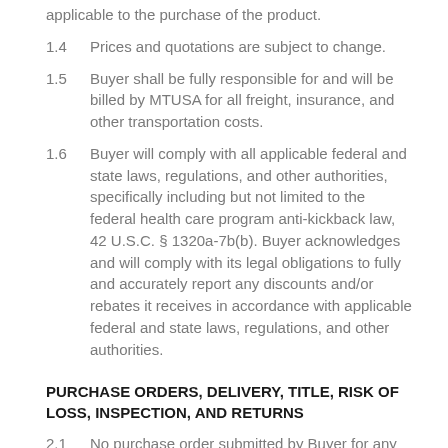applicable to the purchase of the product.
1.4    Prices and quotations are subject to change.
1.5    Buyer shall be fully responsible for and will be billed by MTUSA for all freight, insurance, and other transportation costs.
1.6    Buyer will comply with all applicable federal and state laws, regulations, and other authorities, specifically including but not limited to the federal health care program anti-kickback law, 42 U.S.C. § 1320a-7b(b). Buyer acknowledges and will comply with its legal obligations to fully and accurately report any discounts and/or rebates it receives in accordance with applicable federal and state laws, regulations, and other authorities.
PURCHASE ORDERS, DELIVERY, TITLE, RISK OF LOSS, INSPECTION, AND RETURNS
2.1    No purchase order submitted by Buyer for any product shall be binding on MTUSA unless specifically accepted by